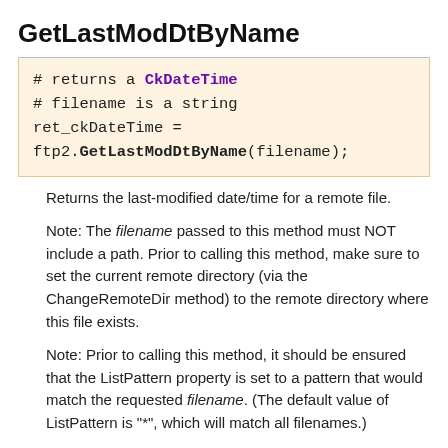GetLastModDtByName
# returns a CkDateTime
# filename is a string
ret_ckDateTime =
ftp2.GetLastModDtByName(filename);
Returns the last-modified date/time for a remote file.
Note: The filename passed to this method must NOT include a path. Prior to calling this method, make sure to set the current remote directory (via the ChangeRemoteDir method) to the remote directory where this file exists.
Note: Prior to calling this method, it should be ensured that the ListPattern property is set to a pattern that would match the requested filename. (The default value of ListPattern is "*", which will match all filenames.)
Returns nil on failure